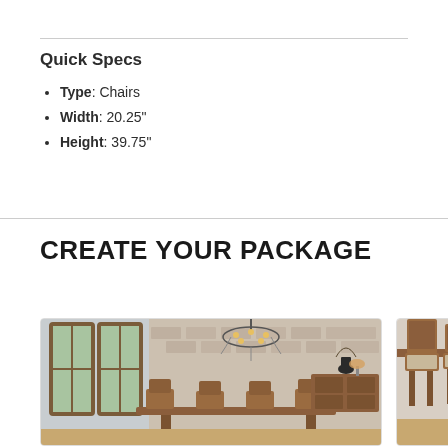Quick Specs
Type: Chairs
Width: 20.25"
Height: 39.75"
CREATE YOUR PACKAGE
[Figure (photo): Dining room scene with wooden table, chairs, chandelier, and sideboard against white brick wall]
[Figure (photo): Close-up of wooden chair and table edge]